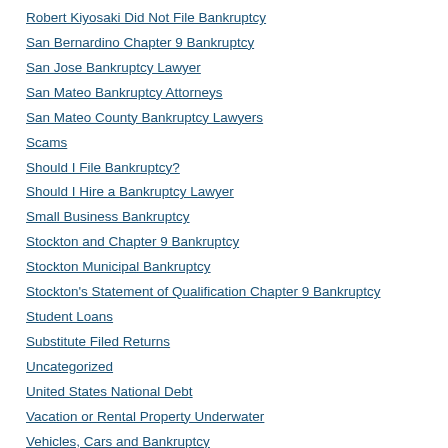Robert Kiyosaki Did Not File Bankruptcy
San Bernardino Chapter 9 Bankruptcy
San Jose Bankruptcy Lawyer
San Mateo Bankruptcy Attorneys
San Mateo County Bankruptcy Lawyers
Scams
Should I File Bankruptcy?
Should I Hire a Bankruptcy Lawyer
Small Business Bankruptcy
Stockton and Chapter 9 Bankruptcy
Stockton Municipal Bankruptcy
Stockton's Statement of Qualification Chapter 9 Bankruptcy
Student Loans
Substitute Filed Returns
Uncategorized
United States National Debt
Vacation or Rental Property Underwater
Vehicles, Cars and Bankruptcy
Violation of the Order of Discharge